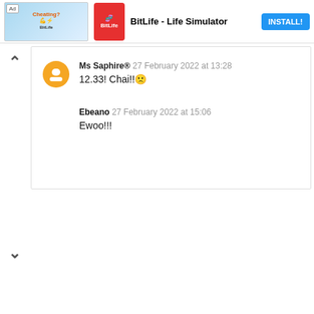[Figure (screenshot): Mobile app advertisement banner for BitLife - Life Simulator with an INSTALL button]
Ms Saphire® 27 February 2022 at 13:28
12.33! Chai!!😟
Ebeano 27 February 2022 at 15:06
Ewoo!!!